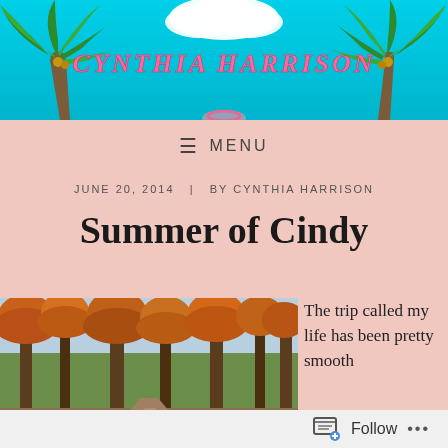[Figure (illustration): Blog header banner with teal/cyan sky background, two palm trees on left and right sides, white clouds, and 'CYNTHIA HARRISON' text in the center in pink/coral decorative font]
≡ MENU
JUNE 20, 2014  |  BY CYNTHIA HARRISON
Summer of Cindy
[Figure (photo): Outdoor photograph of autumn forest scene with tall trees showing fall foliage in brown, orange and rust colors, a path or road visible below]
The trip called my life has been pretty smooth
Follow  •••